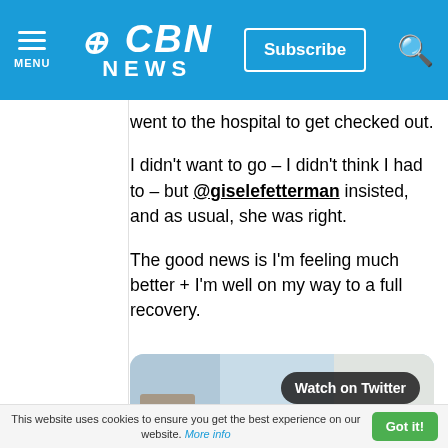CBN NEWS | MENU | Subscribe | Search
went to the hospital to get checked out.
I didn't want to go – I didn't think I had to – but @giselefetterman insisted, and as usual, she was right.
The good news is I'm feeling much better + I'm well on my way to a full recovery.
[Figure (screenshot): Twitter/X embedded video thumbnail showing a person in a medical or office setting with a 'Watch on Twitter' button overlay]
This website uses cookies to ensure you get the best experience on our website. More info | Got it!